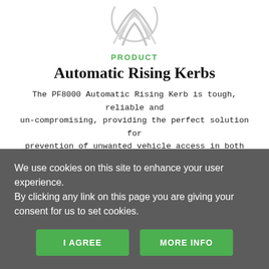[Figure (logo): Circular logo/badge in light gray, partially visible at top of page]
PRODUCT
Automatic Rising Kerbs
The PF8000 Automatic Rising Kerb is tough, reliable and un-compromising, providing the perfect solution for prevention of unwanted vehicle access in both manned and unmanned vehicle parking areas. The PF8000 also provides an excellent deterrent against the most determined intruder.
We use cookies on this site to enhance your user experience.
By clicking any link on this page you are giving your consent for us to set cookies.
I AGREE
MORE INFO